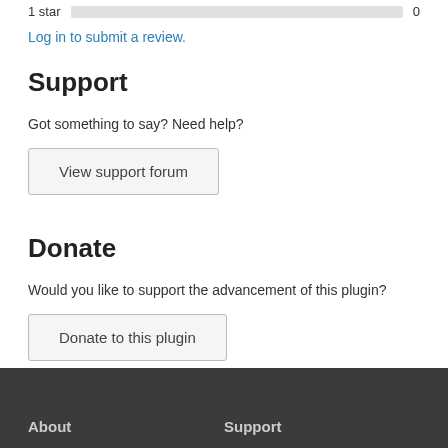1 star   0
Log in to submit a review.
Support
Got something to say? Need help?
View support forum
Donate
Would you like to support the advancement of this plugin?
Donate to this plugin
About   Support